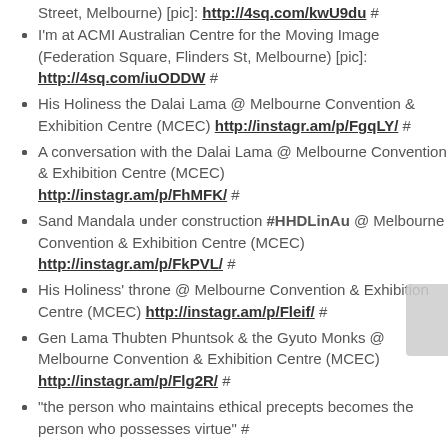Street, Melbourne) [pic]: http://4sq.com/kwU9du #
I'm at ACMI Australian Centre for the Moving Image (Federation Square, Flinders St, Melbourne) [pic]: http://4sq.com/iuODDW #
His Holiness the Dalai Lama @ Melbourne Convention & Exhibition Centre (MCEC) http://instagr.am/p/FgqLY/ #
A conversation with the Dalai Lama @ Melbourne Convention & Exhibition Centre (MCEC) http://instagr.am/p/FhMFK/ #
Sand Mandala under construction #HHDLinAu @ Melbourne Convention & Exhibition Centre (MCEC) http://instagr.am/p/FkPVL/ #
His Holiness' throne @ Melbourne Convention & Exhibition Centre (MCEC) http://instagr.am/p/Fleif/ #
Gen Lama Thubten Phuntsok & the Gyuto Monks @ Melbourne Convention & Exhibition Centre (MCEC) http://instagr.am/p/Flg2R/ #
"the person who maintains ethical precepts becomes the person who possesses virtue" #
Just spotted Momo @ Gurkha's Cafe Nepalese Restaurant on @foodspotting http://bit.ly/jimUSo #